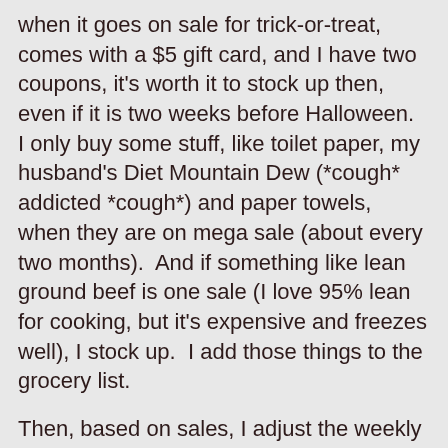when it goes on sale for trick-or-treat, comes with a $5 gift card, and I have two coupons, it's worth it to stock up then, even if it is two weeks before Halloween.  I only buy some stuff, like toilet paper, my husband's Diet Mountain Dew (*cough* addicted *cough*) and paper towels, when they are on mega sale (about every two months).  And if something like lean ground beef is one sale (I love 95% lean for cooking, but it's expensive and freezes well), I stock up.  I add those things to the grocery list.
Then, based on sales, I adjust the weekly menu if necessary and make sure I have the right ingredients for each meal.  (Usually, I use things in the freezer for cooking, but if potatoes are on sale, we might have a potato side instead of a rice side, or vice versa.  And, of course, if an expensive meat is on sale, we might plan a meal around that.)
Finally, I pull any coupons that are about to expire, cross them from the index, and decide if it is worth using them this week.  (For example, I would ALWAYS use a coupon on my coffee, since it rarely goes on sale and I am always going to have to buy it.  But an ice cream coupon might not ever get